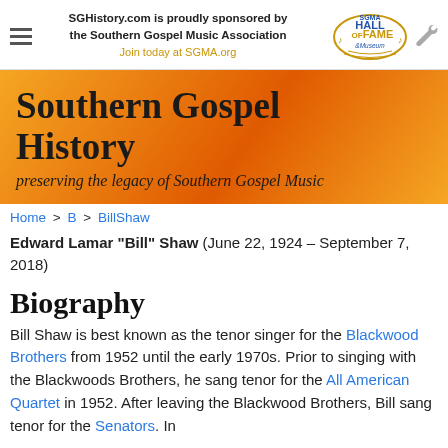[Figure (logo): Hamburger menu icon (three horizontal lines)]
SGHistory.com is proudly sponsored by the Southern Gospel Music Association
Join today at SGMA.org
[Figure (logo): SGMA Hall of Fame & Museum logo]
[Figure (other): Wrench/settings icon]
Southern Gospel History
preserving the legacy of Southern Gospel Music
Home > B > BillShaw
Edward Lamar "Bill" Shaw (June 22, 1924 - September 7, 2018)
Biography
Bill Shaw is best known as the tenor singer for the Blackwood Brothers from 1952 until the early 1970s. Prior to singing with the Blackwoods Brothers, he sang tenor for the All American Quartet in 1952. After leaving the Blackwood Brothers, Bill sang tenor for the Senators. In